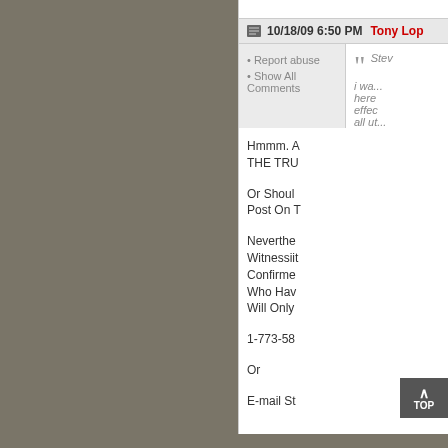10/18/09 6:50 PM  Tony Lop...
Report abuse
Show All Comments
Stev... i wa... here... effec... all ut...
Hmmm. A... THE TRU...
Or Shoul... Post On T...
Neverthe... Witnessiit... Confirme... Who Hav... Will Only...
1-773-58...
Or
E-mail St...